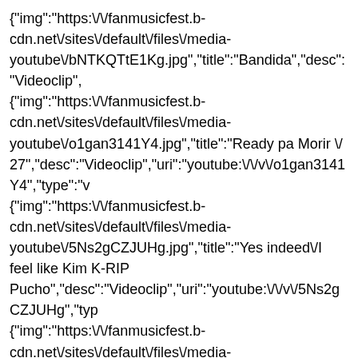{"img":"https:\/\/fanmusicfest.b-cdn.net\/sites\/default\/files\/media-youtube\/bNTKQTtE1Kg.jpg","title":"Bandida","desc":"Videoclip", {"img":"https:\/\/fanmusicfest.b-cdn.net\/sites\/default\/files\/media-youtube\/o1gan3141Y4.jpg","title":"Ready pa Morir \/ 27","desc":"Videoclip","uri":"youtube:\/\/v\/o1gan3141Y4","type":"v {"img":"https:\/\/fanmusicfest.b-cdn.net\/sites\/default\/files\/media-youtube\/5Ns2gCZJUHg.jpg","title":"Yes indeed\/I feel like Kim K-RIP Pucho","desc":"Videoclip","uri":"youtube:\/\/v\/5Ns2gCZJUHg","typ {"img":"https:\/\/fanmusicfest.b-cdn.net\/sites\/default\/files\/media-youtube\/1wlMVmaaJao.jpg","title":"Money","desc":"Videoclip","ur {"img":"https:\/\/fanmusicfest.b-cdn.net\/sites\/default\/files\/media-youtube\/PnMO5ZD1II8.jpg","title":"Morimos en el Party","desc":"Videoclip","uri":"youtube:\/\/v\/PnMO5ZD1II8","type {"img":"https:\/\/fanmusicfest.b-cdn.net\/sites\/default\/files\/media-youtube\/T-8yIYQ6kCo.jpg","title":"Si No Me Das Tu Coraz\u00f3n Te Lo Robo","desc":"Videoclip","uri":"youtube:\/\/v\/T-8yIYQ6kCo","type":"video\/youtube"}, {"img":"https:\/\/fanmusicfest.b-